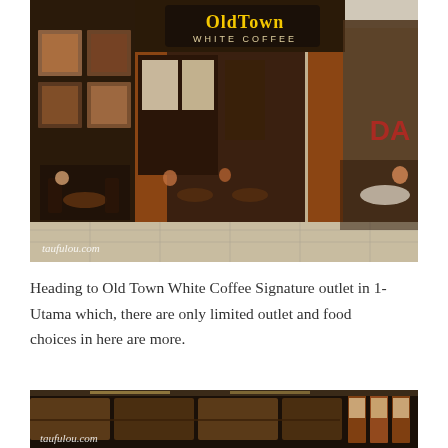[Figure (photo): Exterior of Old Town White Coffee Signature outlet in a shopping mall (1-Utama). The storefront features terracotta/brown columns, a prominent yellow illuminated sign reading 'OldTown WHITE COFFEE', menu boards on the left wall, and customers seated inside and at tables near the entrance. Watermark: taufulou.com]
Heading to Old Town White Coffee Signature outlet in 1-Utama which, there are only limited outlet and food choices in here are more.
[Figure (photo): Interior of Old Town White Coffee restaurant showing wooden shelving/display units and product packaging on shelves, dimly lit ambiance. Watermark: taufulou.com]